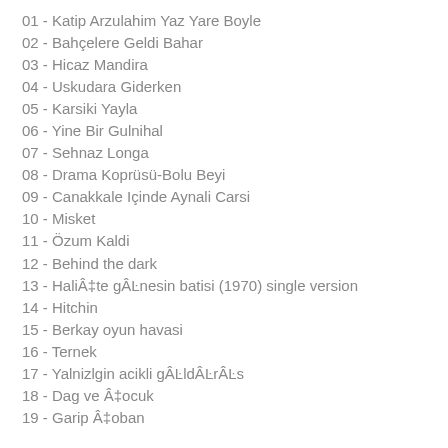01 - Katip Arzulahim Yaz Yare Boyle
02 - Bahçelere Geldi Bahar
03 - Hicaz Mandira
04 - Uskudara Giderken
05 - Karsiki Yayla
06 - Yine Bir Gulnihal
07 - Sehnaz Longa
08 - Drama Koprüsü-Bolu Beyi
09 - Canakkale Içinde Aynali Carsi
10 - Misket
11 - Özum Kaldi
12 - Behind the dark
13 - HaliÂ‡te gÂŀnesin batisi (1970) single version
14 - Hitchin
15 - Berkay oyun havasi
16 - Ternek
17 - Yalnizlgin acikli gÂŀldÂŀrÂŀs
18 - Dag ve Â‡ocuk
19 - Garip Â‡oban